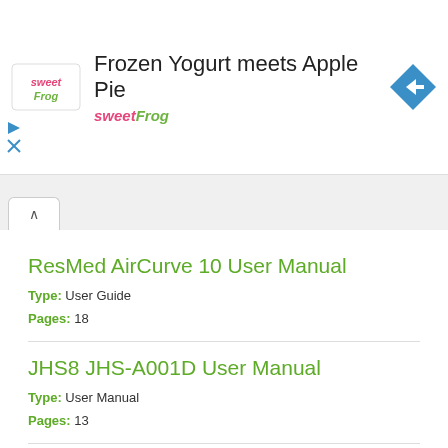[Figure (infographic): Advertisement banner for sweetFrog - Frozen Yogurt meets Apple Pie. Shows sweetFrog logo, text and navigation icon.]
ResMed AirCurve 10 User Manual
Type: User Guide
Pages: 18
JHS8 JHS-A001D User Manual
Type: User Manual
Pages: 13
CYP AU-D21 Operation Manual
Type: Operation Manual
Pages: 13